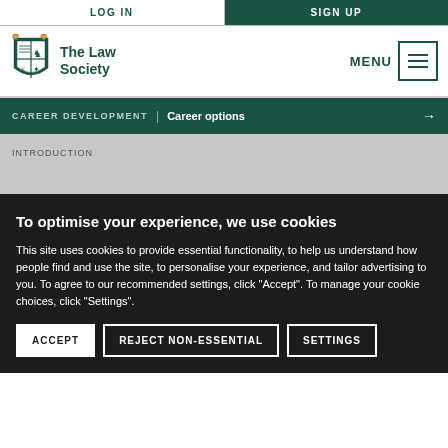LOG IN | SIGN UP
[Figure (logo): The Law Society logo with heraldic shield and lions]
MENU
CAREER DEVELOPMENT | Career options →
INTRODUCTION
To optimise your experience, we use cookies
This site uses cookies to provide essential functionality, to help us understand how people find and use the site, to personalise your experience, and tailor advertising to you. To agree to our recommended settings, click "Accept". To manage your cookie choices, click "Settings".
ACCEPT | REJECT NON-ESSENTIAL | SETTINGS